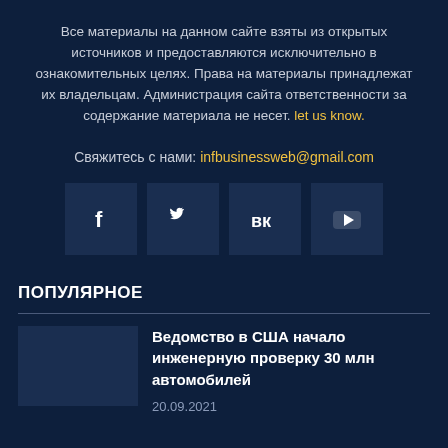Все материалы на данном сайте взяты из открытых источников и предоставляются исключительно в ознакомительных целях. Права на материалы принадлежат их владельцам. Администрация сайта ответственности за содержание материала не несет. let us know.
Свяжитесь с нами: infbusinessweb@gmail.com
[Figure (other): Social media icons: Facebook, Twitter, VK, YouTube]
ПОПУЛЯРНОЕ
Ведомство в США начало инженерную проверку 30 млн автомобилей
20.09.2021